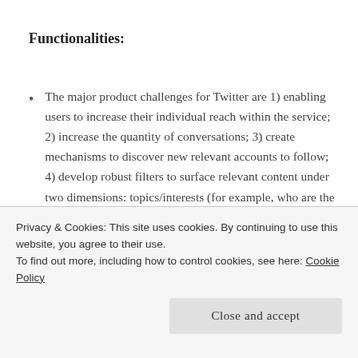Functionalities:
The major product challenges for Twitter are 1) enabling users to increase their individual reach within the service; 2) increase the quantity of conversations; 3) create mechanisms to discover new relevant accounts to follow; 4) develop robust filters to surface relevant content under two dimensions: topics/interests (for example, who are the ornithology experts on Twitter?) and
becoming standards in social networking.
Privacy & Cookies: This site uses cookies. By continuing to use this website, you agree to their use.
To find out more, including how to control cookies, see here: Cookie Policy
Close and accept